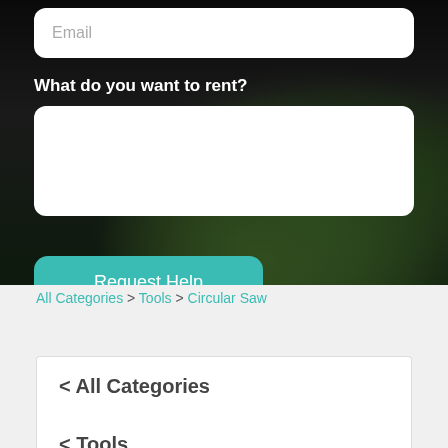[Figure (screenshot): Dark background hero section with a garden/outdoor night scene. Contains an email input field, a 'What do you want to rent?' label, a textarea, and a 'Request Help' teal button.]
Email
What do you want to rent?
Request Help
All Categories > Tools > Circular Saw
< All Categories
< Tools